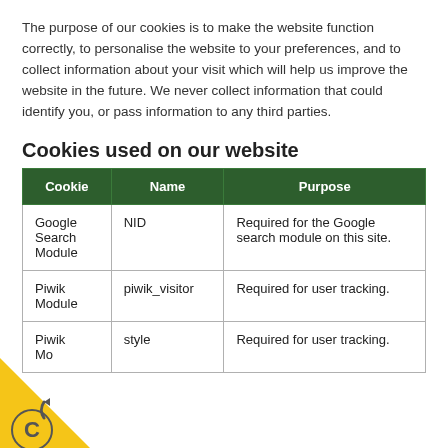The purpose of our cookies is to make the website function correctly, to personalise the website to your preferences, and to collect information about your visit which will help us improve the website in the future. We never collect information that could identify you, or pass information to any third parties.
Cookies used on our website
| Cookie | Name | Purpose |
| --- | --- | --- |
| Google Search Module | NID | Required for the Google search module on this site. |
| Piwik Module | piwik_visitor | Required for user tracking. |
| Piwik Module | style | Required for user tracking. |